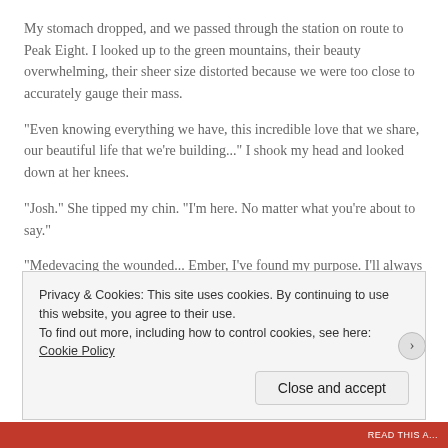My stomach dropped, and we passed through the station on route to Peak Eight. I looked up to the green mountains, their beauty overwhelming, their sheer size distorted because we were too close to accurately gauge their mass.
"Even knowing everything we have, this incredible love that we share, our beautiful life that we're building..." I shook my head and looked down at her knees.
"Josh." She tipped my chin. "I'm here. No matter what you're about to say."
"Medevacing the wounded... Ember, I've found my purpose. I'll always go when they call. How many deployments can you wait through? How many
Privacy & Cookies: This site uses cookies. By continuing to use this website, you agree to their use.
To find out more, including how to control cookies, see here: Cookie Policy
Close and accept